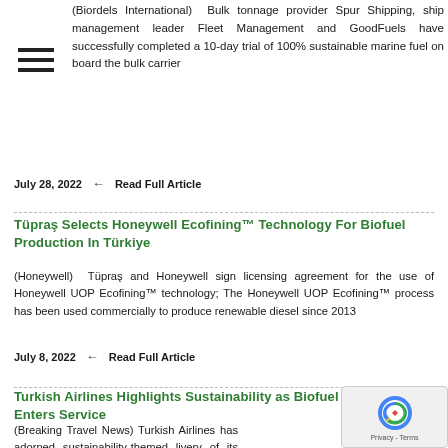(Biordels International)  Bulk tonnage provider Spur Shipping, ship management leader Fleet Management and GoodFuels have successfully completed a 10-day trial of 100% sustainable marine fuel on board the bulk carrier
July 28, 2022  ← Read Full Article
Tüpraş Selects Honeywell Ecofining™ Technology For Biofuel Production In Türkiye
(Honeywell)  Tüpraş and Honeywell sign licensing agreement for the use of Honeywell UOP Ecofining™ technology; The Honeywell UOP Ecofining™ process has been used commercially to produce renewable diesel since 2013
July 8, 2022  ← Read Full Article
Turkish Airlines Highlights Sustainability as Biofuel Aircraft Enters Service
(Breaking Travel News) Turkish Airlines has adorned sustainability-themed livery of its Airbus 321 to highlight its first flight with environmentally-friendly biofuel with zero waste principle. Ap providing information on the